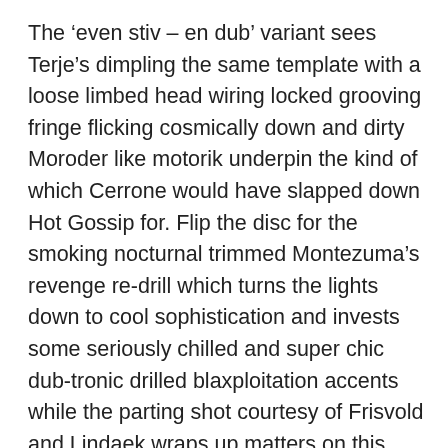The ‘even stiv – en dub’ variant sees Terje’s dimpling the same template with a loose limbed head wiring locked grooving fringe flicking cosmically down and dirty Moroder like motorik underpin the kind of which Cerrone would have slapped down Hot Gossip for. Flip the disc for the smoking nocturnal trimmed Montezuma’s revenge re-drill which turns the lights down to cool sophistication and invests some seriously chilled and super chic dub-tronic drilled blaxploitation accents while the parting shot courtesy of Frisvold and Lindaek wraps up matters on this essential club floor gouging outing with a nifty slice of spacey minimalism which appears to find French futuro funk dudes Space transmitting out hyper galactic melodic mind waves across the cosmic divides by way of some bliss kissed bustling bpm boogying. Phew.